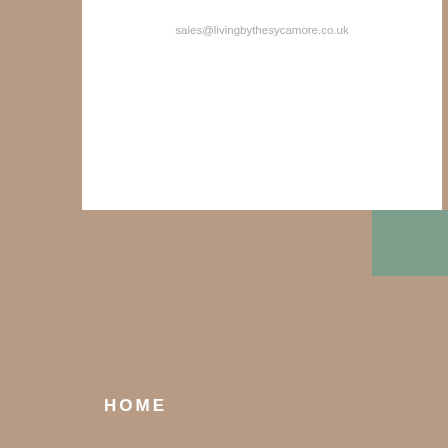sales@livingbythesycamore.co.uk
SEND A MESSAGE
HOME
This website uses cookies to ensure you get the best experience on our website.
Read our Privacy Policy
I accept cookies